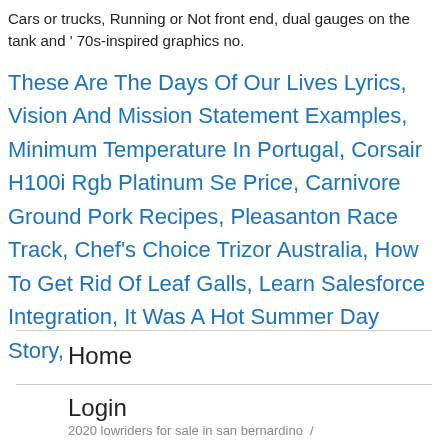Cars or trucks, Running or Not front end, dual gauges on the tank and ' 70s-inspired graphics no.
These Are The Days Of Our Lives Lyrics, Vision And Mission Statement Examples, Minimum Temperature In Portugal, Corsair H100i Rgb Platinum Se Price, Carnivore Ground Pork Recipes, Pleasanton Race Track, Chef's Choice Trizor Australia, How To Get Rid Of Leaf Galls, Learn Salesforce Integration, It Was A Hot Summer Day Story,
Home
Login
About
2020 lowriders for sale in san bernardino  /